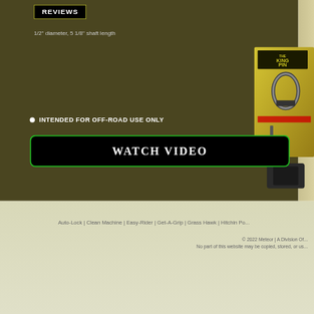REVIEWS
1/2" diameter, 5 1/8" shaft length
INTENDED FOR OFF-ROAD USE ONLY
WATCH VIDEO
[Figure (photo): King Pin product packaging and tool with carabiner clip, shown on right side of dark olive background]
Auto-Lock | Clean Machine | Easy-Rider | Get-A-Grip | Grass Hawk | Hitchin Po...
© 2022 Meteor | A Division Of...
No part of this website may be copied, stored, or us...